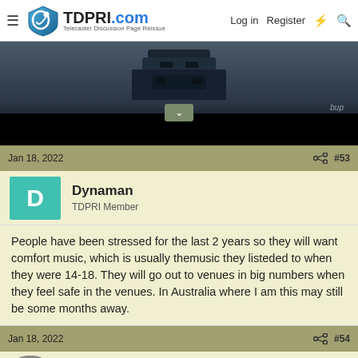TDPRI.com - Telecaster Discussion Page Reissue | Log in | Register
[Figure (screenshot): Dark video frame showing a large mechanical or robot-like structure against a moody sky, with 'bup' watermark in lower right and black bar at bottom with expand arrow button]
Jan 18, 2022  #53
Dynaman
TDPRI Member
People have been stressed for the last 2 years so they will want comfort music, which is usually themusic they listeded to when they were 14-18. They will go out to venues in big numbers when they feel safe in the venues. In Australia where I am this may still be some months away.
Jan 18, 2022  #54
JIMMY JAZZMAN